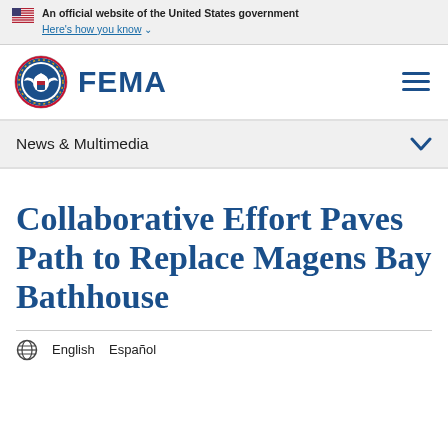An official website of the United States government
Here's how you know
[Figure (logo): FEMA logo with DHS seal and FEMA wordmark]
News & Multimedia
Collaborative Effort Paves Path to Replace Magens Bay Bathhouse
English   Español